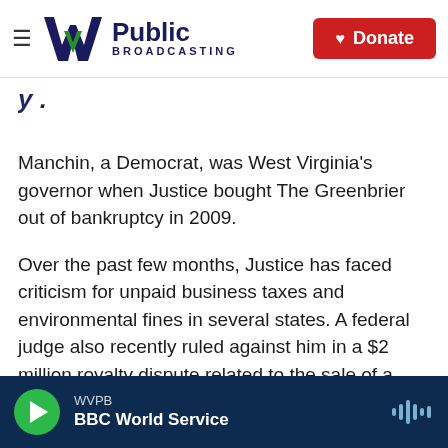WV Public Broadcasting — Donate
y .
Manchin, a Democrat, was West Virginia's governor when Justice bought The Greenbrier out of bankruptcy in 2009.
Over the past few months, Justice has faced criticism for unpaid business taxes and environmental fines in several states. A federal judge also recently ruled against him in a $2 million royalty dispute related to the sale of a coal mine.
WVPB BBC World Service